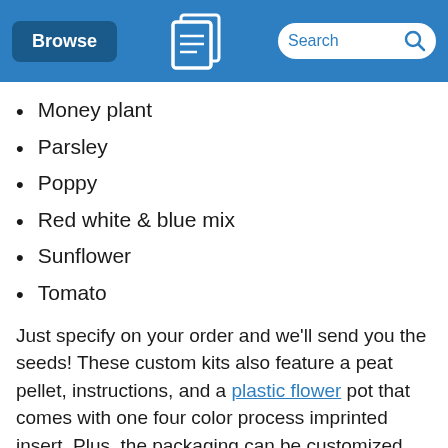Browse | [Logo] | Search
Money plant
Parsley
Poppy
Red white & blue mix
Sunflower
Tomato
Just specify on your order and we'll send you the seeds! These custom kits also feature a peat pellet, instructions, and a plastic flower pot that comes with one four color process imprinted insert. Plus, the packaging can be customized with your specified 4CP design.
We know money doesn't grow on trees. That's why we're offering this fun, fruitful giveaway at a price